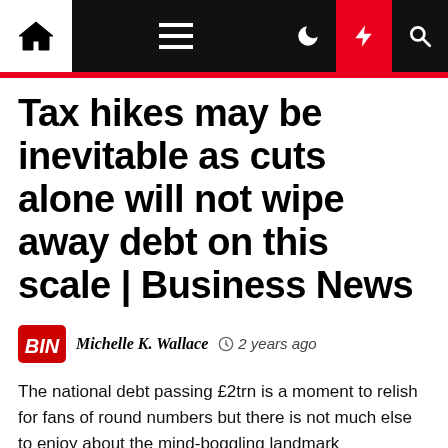Tax hikes may be inevitable as cuts alone will not wipe away debt on this scale | Business News
Tax hikes may be inevitable as cuts alone will not wipe away debt on this scale | Business News
Michelle K. Wallace  2 years ago
The national debt passing £2trn is a moment to relish for fans of round numbers but there is not much else to enjoy about the mind-boggling landmark